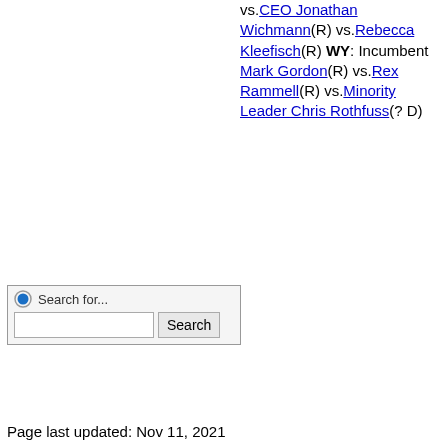vs.CEO Jonathan Wichmann(R) vs.Rebecca Kleefisch(R) WY: Incumbent Mark Gordon(R) vs.Rex Rammell(R) vs.Minority Leader Chris Rothfuss(? D)
[Figure (other): Search widget with radio button, text input labeled 'Search for...' and a Search button]
Page last updated: Nov 11, 2021